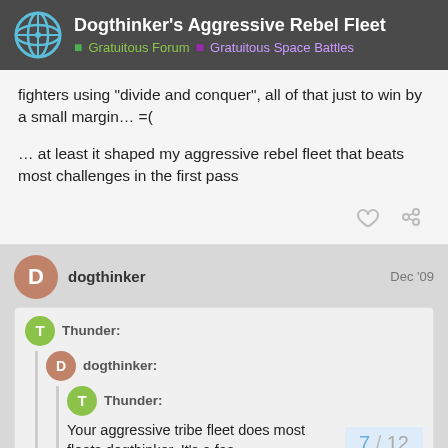Dogthinker's Aggressive Rebel Fleet | Gratuitous Forum | Gratuitous Space Battles
fighters using “divide and conquer”, all of that just to win by a small margin… =(
… at least it shaped my aggressive rebel fleet that beats most challenges in the first pass
dogthinker  Dec '09
Thunder:
dogthinker:
Thunder:
Your aggressive tribe fleet does most fleets dogthinker. It’s a fas...
7 / 12